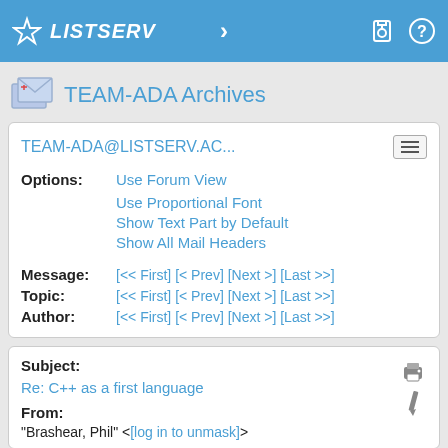LISTSERV
TEAM-ADA Archives
TEAM-ADA@LISTSERV.AC...
Options: Use Forum View
Use Proportional Font
Show Text Part by Default
Show All Mail Headers
Message: [<< First] [< Prev] [Next >] [Last >>]
Topic: [<< First] [< Prev] [Next >] [Last >>]
Author: [<< First] [< Prev] [Next >] [Last >>]
Subject: Re: C++ as a first language
From: "Brashear, Phil" <[log in to unmask]>